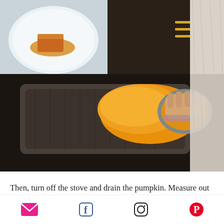[Figure (photo): Food blog page showing a plate with a dessert slice top-left, hamburger menu icon center, dark background top-right]
[Figure (photo): Hands draining cooked orange pumpkin through a colander/sieve over a dark pan]
Then, turn off the stove and drain the pumpkin. Measure out one cup and set aside to cool.
[Figure (photo): Wooden spatula stirring white creamy mixture in a light-colored pan on a dark stovetop]
Email, Facebook, Instagram, Pinterest social media icons